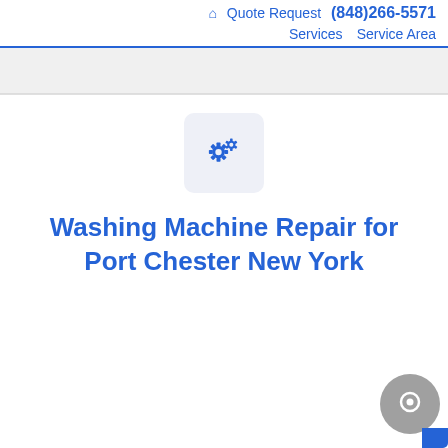🏠 Quote Request (848)266-5571 Services Service Area
[Figure (illustration): Two blue gear icons on a light blue-gray rounded square background, representing appliance repair services]
Washing Machine Repair for Port Chester New York